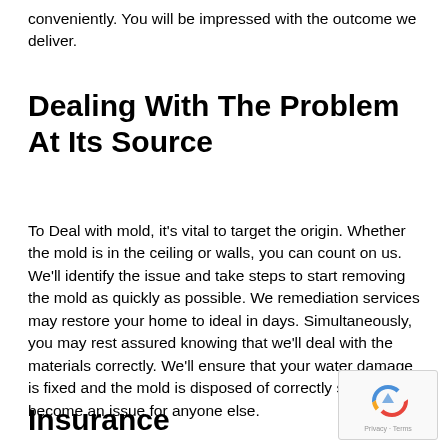conveniently. You will be impressed with the outcome we deliver.
Dealing With The Problem At Its Source
To Deal with mold, it's vital to target the origin. Whether the mold is in the ceiling or walls, you can count on us. We'll identify the issue and take steps to start removing the mold as quickly as possible. We remediation services may restore your home to ideal in days. Simultaneously, you may rest assured knowing that we'll deal with the materials correctly. We'll ensure that your water damage is fixed and the mold is disposed of correctly so it doesn't become an issue for anyone else.
Insurance